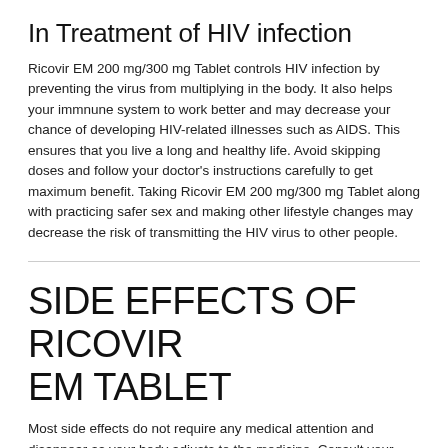In Treatment of HIV infection
Ricovir EM 200 mg/300 mg Tablet controls HIV infection by preventing the virus from multiplying in the body. It also helps your immnune system to work better and may decrease your chance of developing HIV-related illnesses such as AIDS. This ensures that you live a long and healthy life. Avoid skipping doses and follow your doctor's instructions carefully to get maximum benefit. Taking Ricovir EM 200 mg/300 mg Tablet along with practicing safer sex and making other lifestyle changes may decrease the risk of transmitting the HIV virus to other people.
SIDE EFFECTS OF RICOVIR EM TABLET
Most side effects do not require any medical attention and disappear as your body adjusts to the medicine. Consult your doctor if they persist or if you're worried about them
Common side effects of Ricovir EM